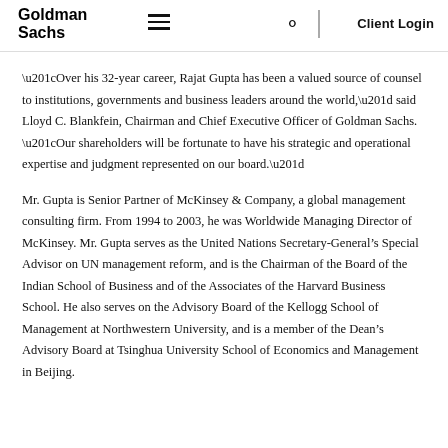Goldman Sachs | Client Login
“Over his 32-year career, Rajat Gupta has been a valued source of counsel to institutions, governments and business leaders around the world,” said Lloyd C. Blankfein, Chairman and Chief Executive Officer of Goldman Sachs. “Our shareholders will be fortunate to have his strategic and operational expertise and judgment represented on our board.”
Mr. Gupta is Senior Partner of McKinsey & Company, a global management consulting firm. From 1994 to 2003, he was Worldwide Managing Director of McKinsey. Mr. Gupta serves as the United Nations Secretary-General’s Special Advisor on UN management reform, and is the Chairman of the Board of the Indian School of Business and of the Associates of the Harvard Business School. He also serves on the Advisory Board of the Kellogg School of Management at Northwestern University, and is a member of the Dean’s Advisory Board at Tsinghua University School of Economics and Management in Beijing.